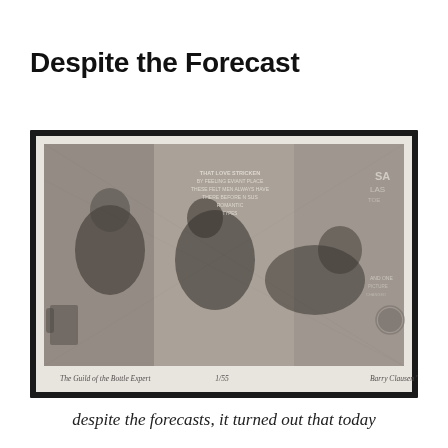Despite the Forecast
[Figure (illustration): A detailed black and white etching/print showing figures in a complex, densely rendered scene. Text is visible within the artwork. Below the image, handwritten text reads 'The Guild of the Bottle Expert', a number '1/55', and a signature 'Barry Clausen '78'.]
despite the forecasts, it turned out that today